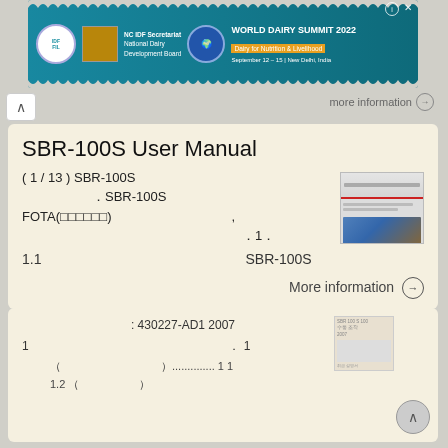[Figure (illustration): World Dairy Summit 2022 advertisement banner with NC IDF Secretariat / National Dairy Development Board logos and globe graphic. Text: WORLD DAIRY SUMMIT 2022, Dairy for Nutrition & Livelihood, September 12–15, New Delhi, India]
SBR-100S User Manual
( 1 / 13 ) SBR-100S
. SBR-100S
FOTA(□□□□□□) ,
. 1.
1.1 SBR-100S
More information →
: 430227-AD1 2007
1 . 1
( ).............. 1 1
1.2 (